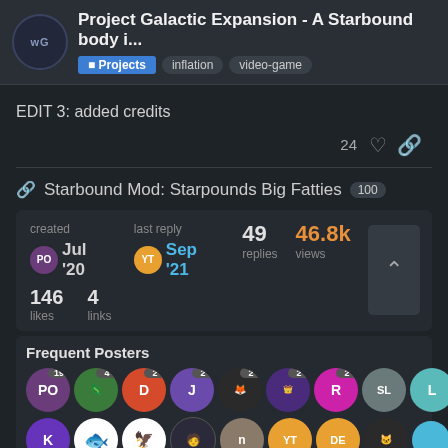Project Galactic Expansion - A Starbound body i... | Projects | inflation | video-game
EDIT 3: added credits
24 ♡ 🔗
🔗 Starbound Mod: Starpounds Big Fatties 100
| created | last reply | replies | views | users |
| --- | --- | --- | --- | --- |
| Jul '20 | Sep '21 | 49 | 46.8k | 24 |
146 likes   4 links
Frequent Posters
1 / 50